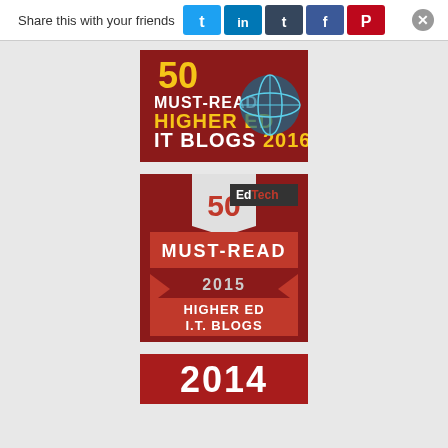Share this with your friends
[Figure (illustration): Badge: 50 Must-Read Higher Ed IT Blogs 2016 - dark red/maroon background with globe graphic and yellow/orange text]
[Figure (illustration): Badge: 50 Must-Read Higher Ed I.T. Blogs 2015 by EdTech - red and dark red ribbon-style badge]
[Figure (illustration): Badge: 2014 Must-Read Higher Ed IT Blogs - red background, partially visible]